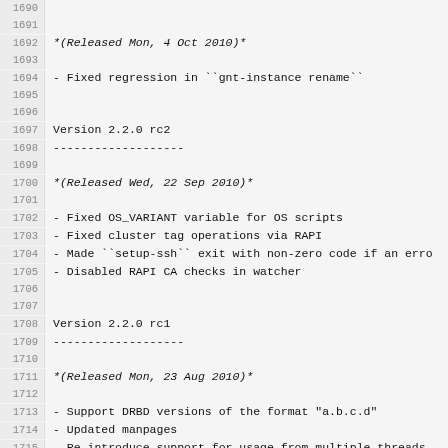1690 (empty)
1691 (empty)
1692 *(Released Mon, 4 Oct 2010)*
1693 (empty)
1694 - Fixed regression in ``gnt-instance rename``
1695 (empty)
1696 (empty)
1697 Version 2.2.0 rc2
1698 -------------------
1699 (empty)
1700 *(Released Wed, 22 Sep 2010)*
1701 (empty)
1702 - Fixed OS_VARIANT variable for OS scripts
1703 - Fixed cluster tag operations via RAPI
1704 - Made ``setup-ssh`` exit with non-zero code if an erro
1705 - Disabled RAPI CA checks in watcher
1706 (empty)
1707 (empty)
1708 Version 2.2.0 rc1
1709 -------------------
1710 (empty)
1711 *(Released Mon, 23 Aug 2010)*
1712 (empty)
1713 - Support DRBD versions of the format "a.b.c.d"
1714 - Updated manpages
1715 - Re-introduce support for usage from multiple threads
1716 - Instance renames and modify via RAPI
1717 - Work around race condition between processing and are